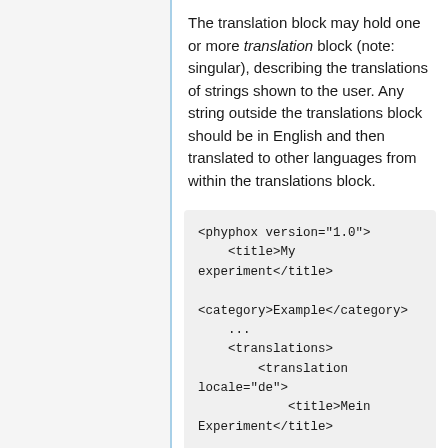The translation block may hold one or more translation block (note: singular), describing the translations of strings shown to the user. Any string outside the translations block should be in English and then translated to other languages from within the translations block.
<phyphox version="1.0">
    <title>My experiment</title>

<category>Example</category>
    ...
    <translations>
        <translation locale="de">
            <title>Mein Experiment</title>

<category>Beispiel</category>
        <string